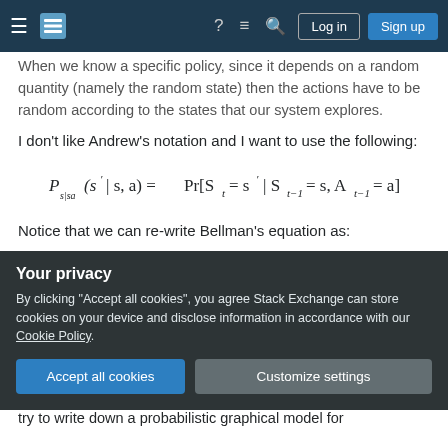Stack Exchange navigation bar with Log in and Sign up buttons
When we know a specific policy, since it depends on a random quantity (namely the random state) then the actions have to be random according to the states that our system explores.
I don't like Andrew's notation and I want to use the following:
Notice that we can re-write Bellman's equation as:
Your privacy
By clicking "Accept all cookies", you agree Stack Exchange can store cookies on your device and disclose information in accordance with our Cookie Policy.
Accept all cookies   Customize settings
try to write down a probabilistic graphical model for